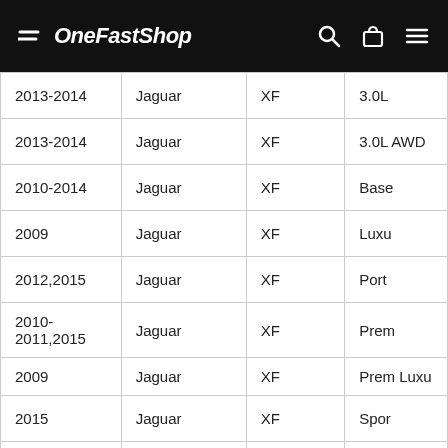OneFastShop
| Year | Make | Model | Trim |
| --- | --- | --- | --- |
| 2013-2014 | Jaguar | XF | 3.0L |
| 2013-2014 | Jaguar | XF | 3.0L AWD |
| 2010-2014 | Jaguar | XF | Base |
| 2009 | Jaguar | XF | Luxu... |
| 2012,2015 | Jaguar | XF | Port... |
| 2010-2011,2015 | Jaguar | XF | Prem... |
| 2009 | Jaguar | XF | Prem Luxu... |
| 2015 | Jaguar | XF | Spor... |
| 2009-2015 | Jaguar | XF | Sup... |